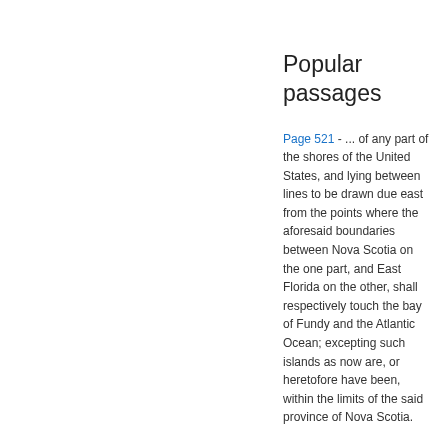Popular passages
Page 521 - ... of any part of the shores of the United States, and lying between lines to be drawn due east from the points where the aforesaid boundaries between Nova Scotia on the one part, and East Florida on the other, shall respectively touch the bay of Fundy and the Atlantic Ocean; excepting such islands as now are, or heretofore have been, within the limits of the said province of Nova Scotia.